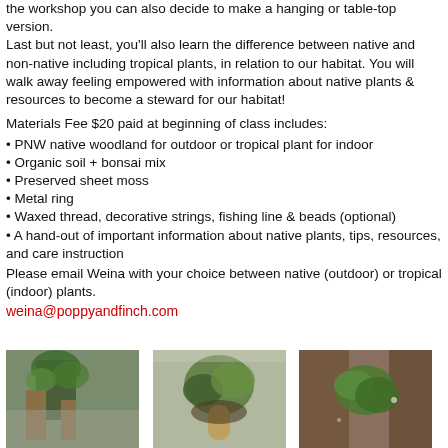the workshop you can also decide to make a hanging or table-top version.
Last but not least, you'll also learn the difference between native and non-native including tropical plants, in relation to our habitat. You will walk away feeling empowered with information about native plants & resources to become a steward for our habitat!
Materials Fee $20 paid at beginning of class includes:
PNW native woodland for outdoor or tropical plant for indoor
Organic soil + bonsai mix
Preserved sheet moss
Metal ring
Waxed thread, decorative strings, fishing line & beads (optional)
A hand-out of important information about native plants, tips, resources, and care instruction
Please email Weina with your choice between native (outdoor) or tropical (indoor) plants.
weina@poppyandfinch.com
[Figure (photo): Three photos of plants in kokedama/moss ball arrangements]
[Figure (photo): Middle photo of plant arrangement]
[Figure (photo): Right photo of plant arrangement]